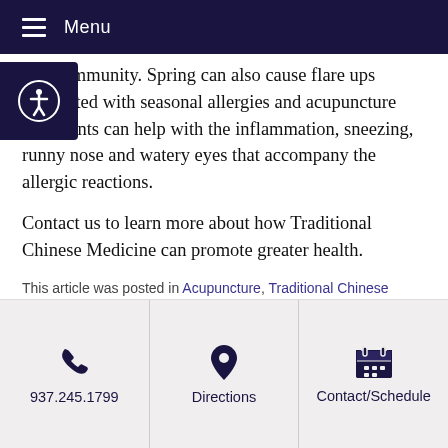Menu
boost immunity. Spring can also cause flare ups associated with seasonal allergies and acupuncture treatments can help with the inflammation, sneezing, runny nose and watery eyes that accompany the allergic reactions.
Contact us to learn more about how Traditional Chinese Medicine can promote greater health.
This article was posted in Acupuncture, Traditional Chinese Medicine and tagged diet, seasons, sleep, spring, tcm, winter. Bookmark the permalink. Follow comments with the RSS feed for this post. Both comments and trackbacks are closed.
Successful Herbs to Move Liver
« Food Color and
937.245.1799    Directions    Contact/Schedule